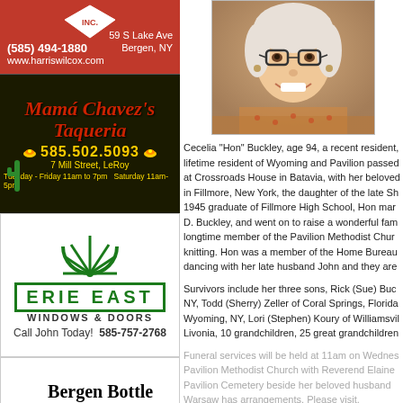[Figure (infographic): Harris Wilcox Inc. advertisement - red background, phone (585)494-1880, address 59 S Lake Ave Bergen NY, website www.harriswilcox.com]
[Figure (infographic): Mama Chavez's Taqueria advertisement - dark background with Mexican theme, phone 585.502.5093, address 7 Mill Street LeRoy, hours Tuesday-Friday 11am to 7pm Saturday 11am-5pm]
[Figure (infographic): Erie East Windows and Doors advertisement - green logo with sunburst design, Call John Today 585-757-2768]
[Figure (infographic): Bergen Bottle Redemption Center advertisement - phone (585)867-0656, address 72 South Lake Ave Bergen]
[Figure (infographic): HUNT Real Estate ERA advertisement featuring Stephanie Call D'Alba Licensed Real Estate Salesperson, Cell 585-297-5250, address 97 Main Street Batavia NY 14020]
[Figure (photo): Portrait photo of elderly woman smiling, wearing glasses]
Cecelia “Hon” Buckley, age 94, a recent resident, lifetime resident of Wyoming and Pavilion passed at Crossroads House in Batavia, with her beloved in Fillmore, New York, the daughter of the late Sh 1945 graduate of Fillmore High School, Hon mar D. Buckley, and went on to raise a wonderful fam longtime member of the Pavilion Methodist Chur knitting. Hon was a member of the Home Bureau dancing with her late husband John and they are
Survivors include her three sons, Rick (Sue) Buc NY, Todd (Sherry) Zeller of Coral Springs, Florida Wyoming, NY, Lori (Stephen) Koury of Williamsvil Livonia, 10 grandchildren, 25 great grandchildren
Funeral services will be held at 11am on Wednes Pavilion Methodist Church with Reverend Elaine Pavilion Cemetery beside her beloved husband Warsaw has arrangements. Please visit,
[Figure (infographic): Blondies advertisement - order ice cream]